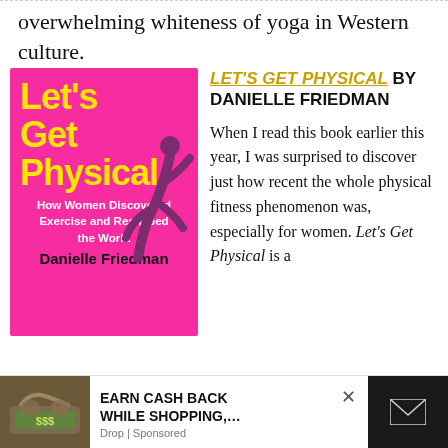overwhelming whiteness of yoga in Western culture.
[Figure (photo): Book cover of 'Let's Get Physical' by Danielle Friedman. Hot pink background with yellow stylized text title, a silhouette of a woman doing a yoga/gymnastics pose in purple, subtitle 'How Women Discovered Exercise and Reshaped the World', author name in black bold at bottom.]
LET'S GET PHYSICAL BY DANIELLE FRIEDMAN
When I read this book earlier this year, I was surprised to discover just how recent the whole physical fitness phenomenon was, especially for women. Let's Get Physical is a …ing exploration.
EARN CASH BACK WHILE SHOPPING,…
Drop | Sponsored